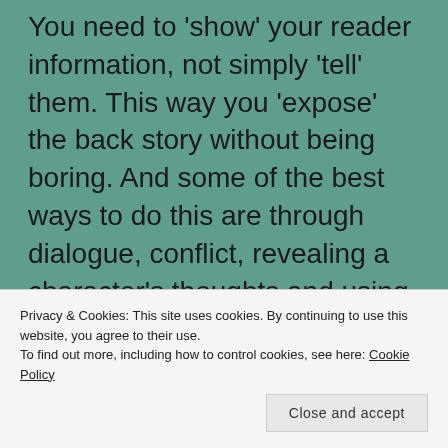You need to 'show' your reader information, not simply 'tell' them. This way you 'expose' the back story without being boring. And some of the best ways to do this are through dialogue, conflict, revealing a character's thoughts and using physical props such as newspapers, letters and emails.
For example, have your characters talk to each other  about events that have happened, what those events meant to them, how they felt and reacted to those events.  But a word of warning. You need your dialogue to be realistic.  Don't use it as a
Privacy & Cookies: This site uses cookies. By continuing to use this website, you agree to their use.
To find out more, including how to control cookies, see here: Cookie Policy
Close and accept